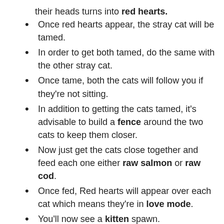their heads turns into red hearts.
Once red hearts appear, the stray cat will be tamed.
In order to get both tamed, do the same with the other stray cat.
Once tame, both the cats will follow you if they’re not sitting.
In addition to getting the cats tamed, it’s advisable to build a fence around the two cats to keep them closer.
Now just get the cats close together and feed each one either raw salmon or raw cod.
Once fed, Red hearts will appear over each cat which means they’re in love mode.
You’ll now see a kitten spawn.
You can make the kitten sit and to add to it, it